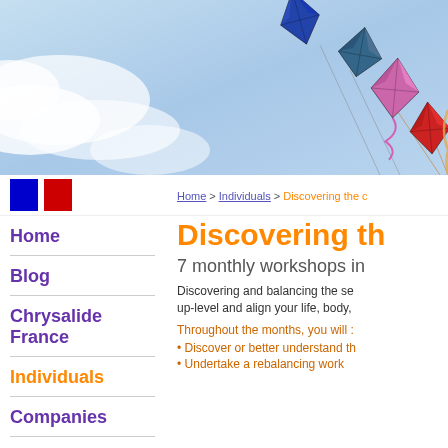[Figure (photo): Blue sky background with colorful kites flying, including blue, purple, pink, and red kites with tails and strings]
[Figure (illustration): French flag represented as two colored rectangles: blue on left and red on right]
Home
Blog
Chrysalide France
Individuals
Companies
Soul Realignment
Home > Individuals > Discovering the c
Discovering th
7 monthly workshops in
Discovering and balancing the se up-level and align your life, body,
Throughout the months, you will :
• Discover or better understand th
• Undertake a rebalancing work